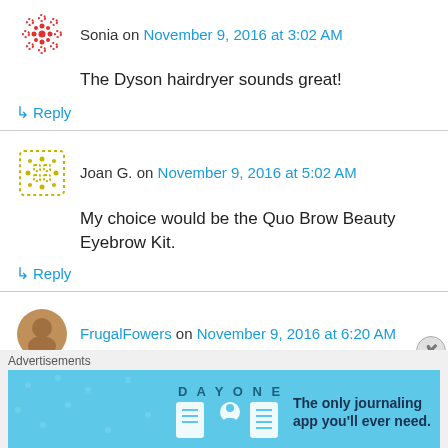Sonia on November 9, 2016 at 3:02 AM
The Dyson hairdryer sounds great!
↳ Reply
Joan G. on November 9, 2016 at 5:02 AM
My choice would be the Quo Brow Beauty Eyebrow Kit.
↳ Reply
FrugalFowers on November 9, 2016 at 6:20 AM
Advertisements
[Figure (screenshot): Day One journaling app advertisement banner with light blue background and icons]